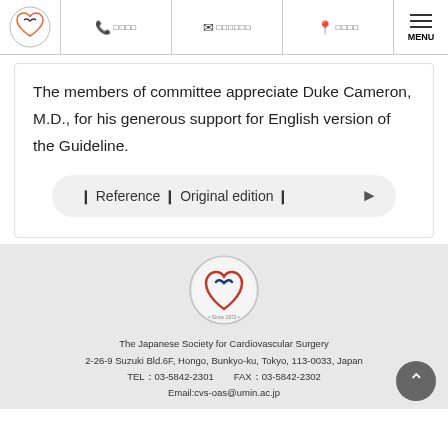[Figure (logo): Japanese Society for Cardiovascular Surgery circular logo in header nav bar]
The members of committee appreciate Duke Cameron, M.D., for his generous support for English version of the Guideline.
❙ Reference ❙ Original edition ❙
[Figure (logo): Japanese Society for Cardiovascular Surgery circular logo in footer]
The Japanese Society for Cardiovascular Surgery
2-26-9 Suzuki Bld.6F, Hongo, Bunkyo-ku, Tokyo, 113-0033, Japan
TEL：03-5842-2301　FAX：03-5842-2302
Email:cvs-oas@umin.ac.jp